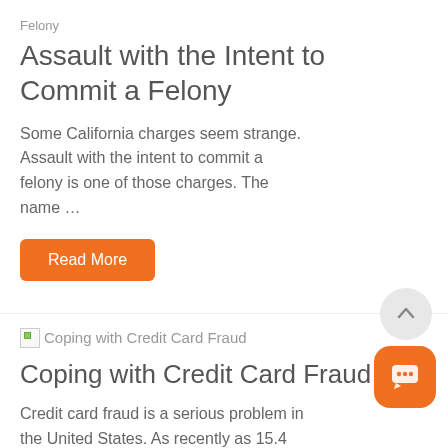Felony
Assault with the Intent to Commit a Felony
Some California charges seem strange. Assault with the intent to commit a felony is one of those charges. The name …
Read More
[Figure (other): Broken image placeholder for Coping with Credit Card Fraud article]
Coping with Credit Card Fraud
Credit card fraud is a serious problem in the United States. As recently as 15.4 million Americans were credit card …